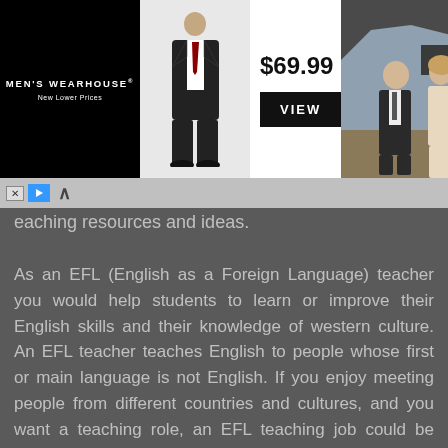[Figure (other): Men's Wearhouse advertisement banner showing a suit for $69.99 with a VIEW button and a photo of a couple dressed formally.]
teaching resources and ideas.
As an EFL (English as a Foreign Language) teacher you would help students to learn or improve their English skills and their knowledge of western culture. An EFL teacher teaches English to people whose first or main language is not English. If you enjoy meeting people from different countries and cultures, and you want a teaching role, an EFL teaching job could be perfect for you.
You will need a superior level of English, and most employers will expect you to have a degree or a qualification in Teaching English as a Foreign Language (TEFL). You will also need patience and a good sense of humor. You could specialize in teaching English for Special Purposes (ESP), such as business or IELTS/TOEFL test